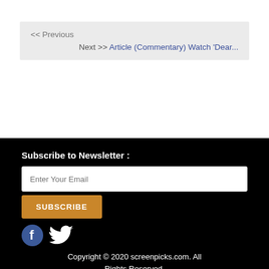<< Previous
Next >> Article (Commentary) Watch 'Dear...
Subscribe to Newsletter :
Enter Your Email
SUBSCRIBE
[Figure (logo): Facebook and Twitter social media icons]
Copyright © 2020 screenpicks.com. All Rights Reserved.